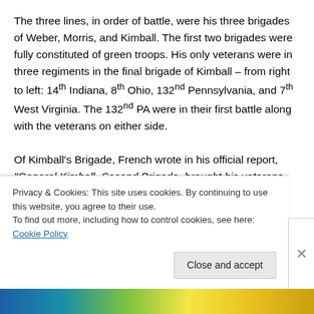The three lines, in order of battle, were his three brigades of Weber, Morris, and Kimball. The first two brigades were fully constituted of green troops. His only veterans were in three regiments in the final brigade of Kimball – from right to left: 14th Indiana, 8th Ohio, 132nd Pennsylvania, and 7th West Virginia. The 132nd PA were in their first battle along with the veterans on either side.
Of Kimball's Brigade, French wrote in his official report, "General Kimball, Second Brigade, brought his veterans into action, and fought the enemy on the front and either flank with such perseverance and determination as to...
Privacy & Cookies: This site uses cookies. By continuing to use this website, you agree to their use. To find out more, including how to control cookies, see here: Cookie Policy
Close and accept